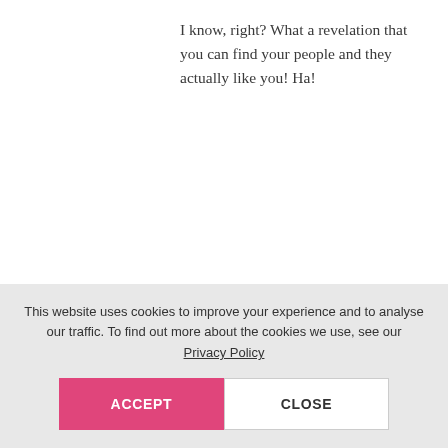I know, right? What a revelation that you can find your people and they actually like you! Ha!
REPLY
[Figure (photo): Circular avatar photo of Ruth, a woman with reddish-brown hair]
Ruth says
JANUARY 27, 2015 AT 8:11 PM
This website uses cookies to improve your experience and to analyse our traffic. To find out more about the cookies we use, see our Privacy Policy
ACCEPT
CLOSE